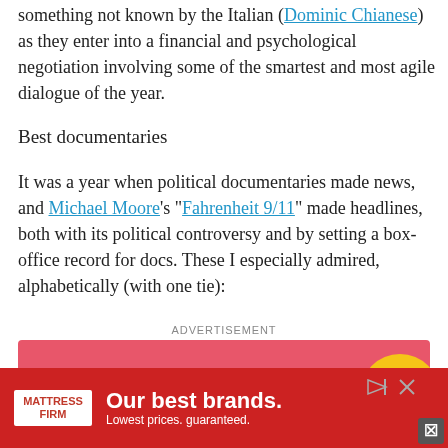something not known by the Italian (Dominic Chianese) as they enter into a financial and psychological negotiation involving some of the smartest and most agile dialogue of the year.
Best documentaries
It was a year when political documentaries made news, and Michael Moore's "Fahrenheit 9/11" made headlines, both with its political controversy and by setting a box-office record for docs. These I especially admired, alphabetically (with one tie):
[Figure (other): Advertisement banner: pink background with 'Earn money' text in white bold font, and a yellow circular element at the right edge.]
[Figure (other): Advertisement overlay: Mattress Firm ad with red background, white Mattress Firm logo, text 'Our best brands. Lowest prices. guaranteed.' with close button.]